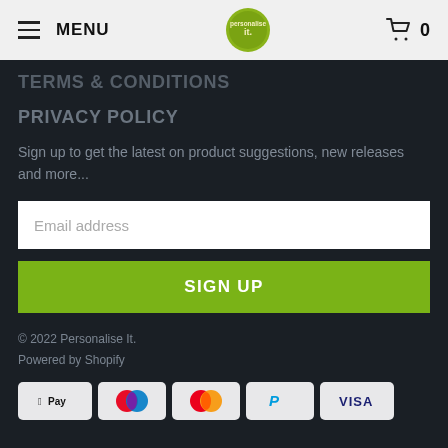MENU | [logo] | 0
TERMS & CONDITIONS
PRIVACY POLICY
Sign up to get the latest on product suggestions, new releases and more...
Email address
SIGN UP
© 2022 Personalise It. Powered by Shopify
[Figure (infographic): Payment method icons: Apple Pay, Maestro, Mastercard, PayPal, Visa]